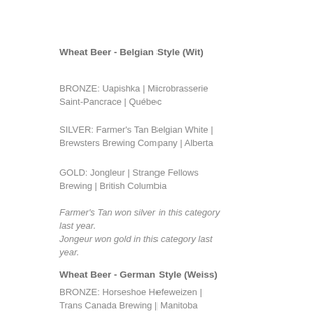Wheat Beer - Belgian Style (Wit)
BRONZE: Uapishka | Microbrasserie Saint-Pancrace | Québec
SILVER: Farmer's Tan Belgian White | Brewsters Brewing Company | Alberta
GOLD: Jongleur | Strange Fellows Brewing | British Columbia
Farmer's Tan won silver in this category last year.
Jongeur won gold in this category last year.
Wheat Beer - German Style (Weiss)
BRONZE: Horseshoe Hefeweizen | Trans Canada Brewing | Manitoba
SILVER: Fahr Hefe | Brauerei Fahr | Alberta